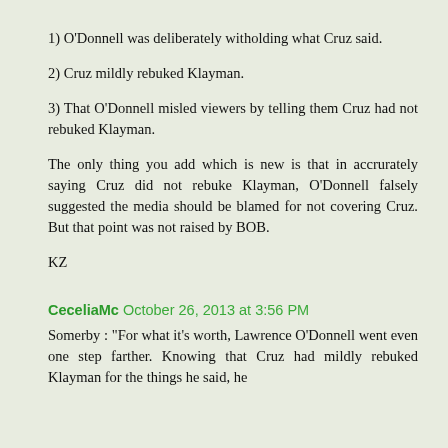1) O'Donnell was deliberately witholding what Cruz said.
2) Cruz mildly rebuked Klayman.
3) That O'Donnell misled viewers by telling them Cruz had not rebuked Klayman.
The only thing you add which is new is that in accrurately saying Cruz did not rebuke Klayman, O'Donnell falsely suggested the media should be blamed for not covering Cruz. But that point was not raised by BOB.
KZ
CeceliaMc October 26, 2013 at 3:56 PM
Somerby : "For what it's worth, Lawrence O'Donnell went even one step farther. Knowing that Cruz had mildly rebuked Klayman for the things he said, he